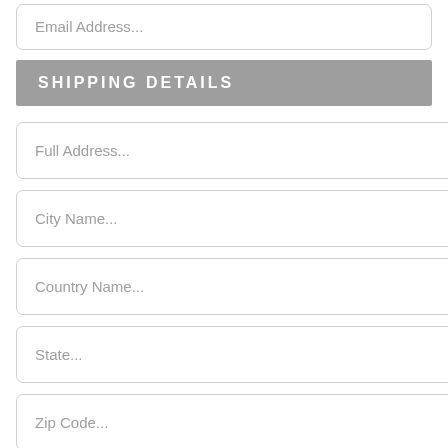Email Address...
SHIPPING DETAILS
Full Address...
City Name...
Country Name...
State...
Zip Code...